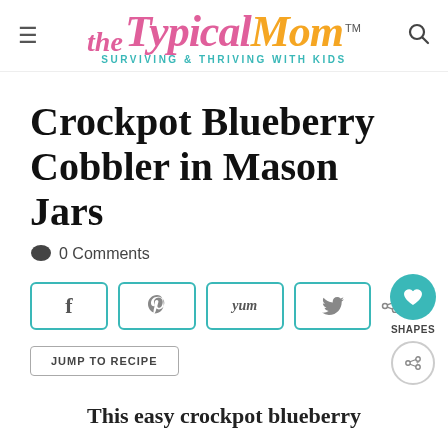The TypicalMom™ — SURVIVING & THRIVING WITH KIDS
Crockpot Blueberry Cobbler in Mason Jars
0 Comments
[Figure (infographic): Social share buttons row: Facebook, Pinterest, Yum, Twitter; share count 45 SHAPES; floating heart and share buttons]
JUMP TO RECIPE
This easy crockpot blueberry